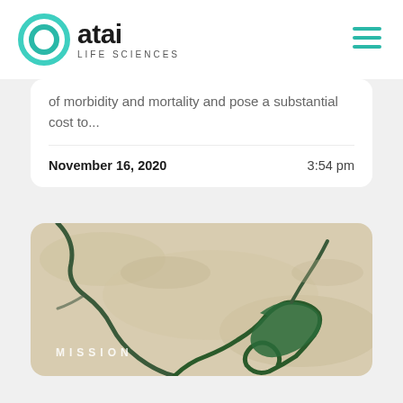atai LIFE SCIENCES
of morbidity and mortality and pose a substantial cost to...
November 16, 2020   3:54 pm
[Figure (photo): Aerial/satellite view of a river winding through a desert landscape with a green water body visible, overlaid with the word MISSION]
MISSION